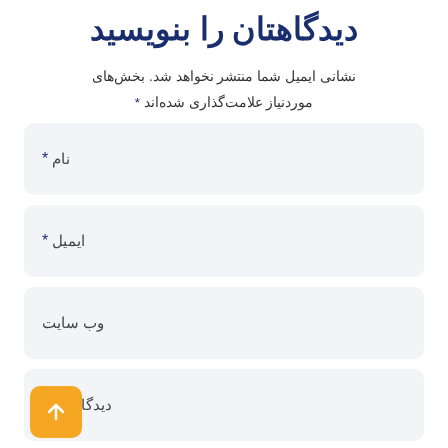دیدگاهتان را بنویسید
نشانی ایمیل شما منتشر نخواهد شد. بخش‌های موردنیاز علامت‌گذاری شده‌اند *
نام *
ایمیل*
وب سایت
دیدگاه شما